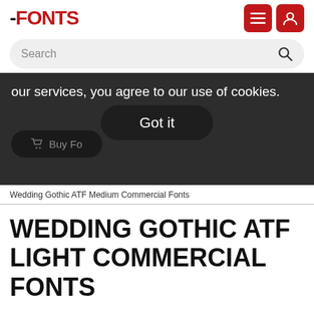FONTS
Search
our services, you agree to our use of cookies. Learn more. Got it
Buy Fo...
Wedding Gothic ATF Medium Commercial Fonts
WEDDING GOTHIC ATF LIGHT COMMERCIAL FONTS